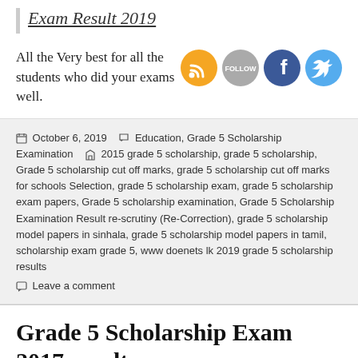Exam Result 2019
All the Very best for all the students who did your exams well.
[Figure (illustration): Four social media icon buttons: RSS (orange), Follow (gray), Facebook (blue), Twitter (light blue)]
October 6, 2019  Education, Grade 5 Scholarship Examination  2015 grade 5 scholarship, grade 5 scholarship, Grade 5 scholarship cut off marks, grade 5 scholarship cut off marks for schools Selection, grade 5 scholarship exam, grade 5 scholarship exam papers, Grade 5 scholarship examination, Grade 5 Scholarship Examination Result re-scrutiny (Re-Correction), grade 5 scholarship model papers in sinhala, grade 5 scholarship model papers in tamil, scholarship exam grade 5, www doenets lk 2019 grade 5 scholarship results  Leave a comment
Grade 5 Scholarship Exam 2017 results